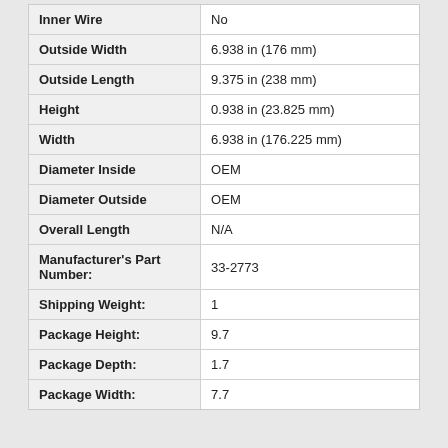| Property | Value |
| --- | --- |
| Inner Wire | No |
| Outside Width | 6.938 in (176 mm) |
| Outside Length | 9.375 in (238 mm) |
| Height | 0.938 in (23.825 mm) |
| Width | 6.938 in (176.225 mm) |
| Diameter Inside | OEM |
| Diameter Outside | OEM |
| Overall Length | N/A |
| Manufacturer's Part Number: | 33-2773 |
| Shipping Weight: | 1 |
| Package Height: | 9.7 |
| Package Depth: | 1.7 |
| Package Width: | 7.7 |